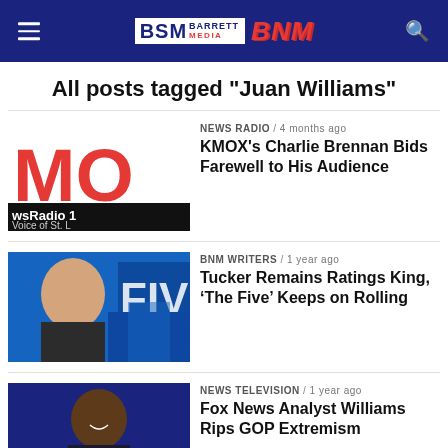BSM Barrett Media BNM
All posts tagged "Juan Williams"
NEWS RADIO / 4 months ago
KMOX's Charlie Brennan Bids Farewell to His Audience
BNM WRITERS / 1 year ago
Tucker Remains Ratings King, ‘The Five’ Keeps on Rolling
NEWS TELEVISION / 1 year ago
Fox News Analyst Williams Rips GOP Extremism
NEWS TELEVISION / 1 year ago
Report: Gutfeld Pressure May Have Pushed Williams to Quit ‘The Five’